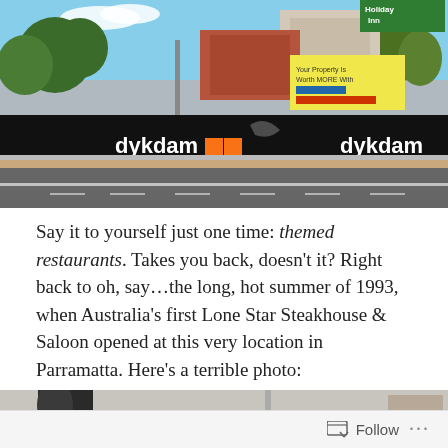[Figure (photo): Street photo showing a construction hoarding along a road with 'dykdam' branding, trees and buildings visible behind including a Holiday Inn sign and a real estate advertisement billboard. Road with lane markings in foreground.]
Say it to yourself just one time: themed restaurants. Takes you back, doesn't it? Right back to oh, say…the long, hot summer of 1993, when Australia's first Lone Star Steakhouse & Saloon opened at this very location in Parramatta. Here's a terrible photo:
[Figure (photo): Partial view of a second, older/lower quality photo, mostly grey/white, partially visible at bottom of page.]
Follow ...